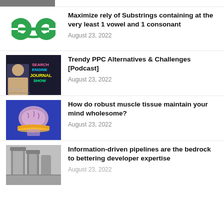[Figure (screenshot): Partial top image, cropped]
[Figure (logo): GeeksForGeeks green GFG logo]
Maximize rely of Substrings containing at the very least 1 vowel and 1 consonant
August 23, 2022
[Figure (screenshot): Search Engine Journal Show podcast thumbnail with Kirk Williams]
Trendy PPC Alternatives & Challenges [Podcast]
August 23, 2022
[Figure (illustration): Brain on blue background]
How do robust muscle tissue maintain your mind wholesome?
August 23, 2022
[Figure (photo): Industrial pipes or infrastructure, grayscale]
Information-driven pipelines are the bedrock to bettering developer expertise
August 23, 2022